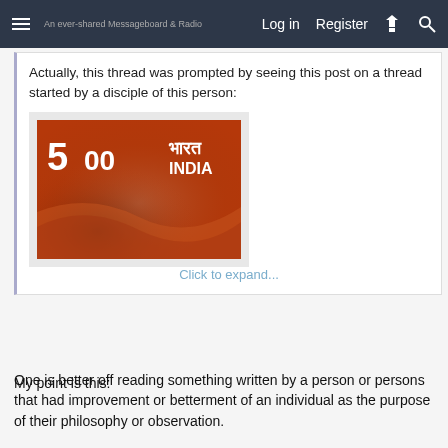Log in   Register
Actually, this thread was prompted by seeing this post on a thread started by a disciple of this person:
[Figure (illustration): An Indian postage stamp showing '5 00' denomination with text 'भारत INDIA' on a reddish-brown background with perforated edges. Below the stamp image is a 'Click to expand...' link.]
My point is this:

One is better off reading something written by a person or persons that had improvement or betterment of an individual as the purpose of their philosophy or observation.

I am uncertain that flubbard was of that mind.

I am aware that he had used other's "good ideas" and called them his own many, many times. There are some things while I